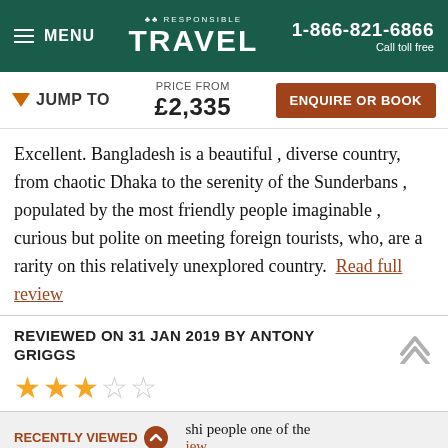MENU | RESPONSIBLE TRAVEL | 1-866-821-6866 Call toll free
JUMP TO | PRICE FROM £2,335 | ENQUIRE OR BOOK
Excellent. Bangladesh is a beautiful , diverse country, from chaotic Dhaka to the serenity of the Sunderbans , populated by the most friendly people imaginable , curious but polite on meeting foreign tourists, who, are a rarity on this relatively unexplored country. Read full review
REVIEWED ON 31 JAN 2019 BY ANTONY GRIGGS
★★★☆☆ (3 out of 5 stars)
shi people one of the
iew
RECENTLY VIEWED